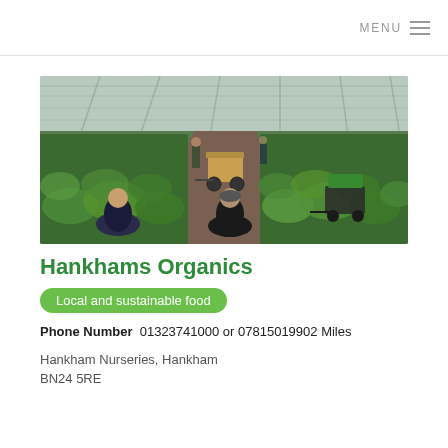MENU
[Figure (photo): Interior of a large greenhouse/nursery with two workers kneeling among green plant seedlings in the foreground, a cart loaded with plants in the middle ground, and rows of plants extending into the background under a glass roof structure.]
Hankhams Organics
Local and sustainable food
Phone Number  01323741000 or 07815019902 Miles
Hankham Nurseries, Hankham
BN24 5RE